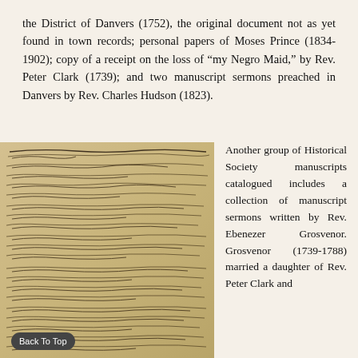the District of Danvers (1752), the original document not as yet found in town records; personal papers of Moses Prince (1834-1902); copy of a receipt on the loss of "my Negro Maid," by Rev. Peter Clark (1739); and two manuscript sermons preached in Danvers by Rev. Charles Hudson (1823).
[Figure (photo): Photograph of a handwritten historical manuscript page with cursive script, dated from the 18th century. Text discusses topics including preaching and scripture. A 'Back To Top' button overlay is visible at the bottom.]
Another group of Historical Society manuscripts catalogued includes a collection of manuscript sermons written by Rev. Ebenezer Grosvenor. Grosvenor (1739-1788) married a daughter of Rev. Peter Clark and